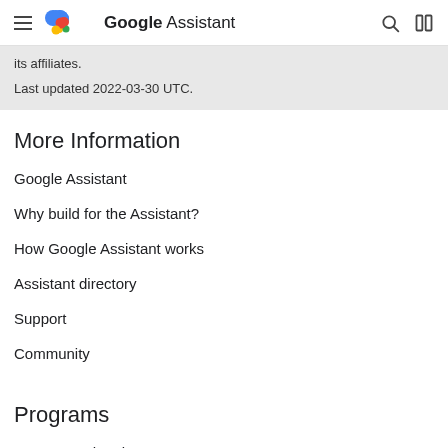Google Assistant
its affiliates.
Last updated 2022-03-30 UTC.
More Information
Google Assistant
Why build for the Assistant?
How Google Assistant works
Assistant directory
Support
Community
Programs
Women Techmakers